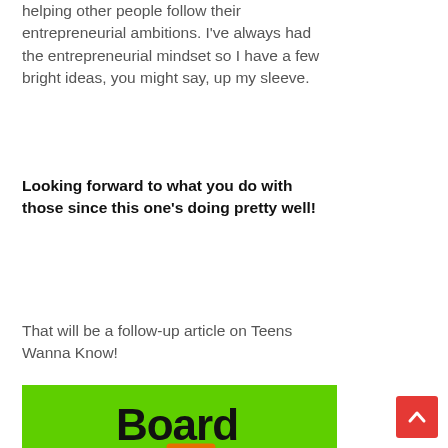helping other people follow their entrepreneurial ambitions. I've always had the entrepreneurial mindset so I have a few bright ideas, you might say, up my sleeve.
Looking forward to what you do with those since this one's doing pretty well!
That will be a follow-up article on Teens Wanna Know!
[Figure (logo): Board Blazers advertisement banner with bright green background, black bold text 'Board Blazers', orange Z logo, italic text 'LED Underglow Skateboard Lighting', and website URL at bottom]